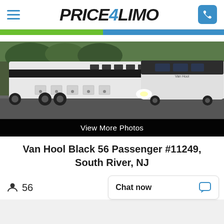Price4Limo
[Figure (photo): White Van Hool coach bus parked in a lot, shown from the side and front angle, with trees in background]
View More Photos
Van Hool Black 56 Passenger #11249, South River, NJ
56
Chat now